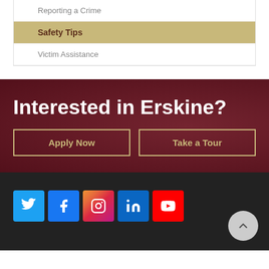Reporting a Crime
Safety Tips
Victim Assistance
Interested in Erskine?
Apply Now
Take a Tour
[Figure (other): Social media icons: Twitter, Facebook, Instagram, LinkedIn, YouTube]
Scroll to top button